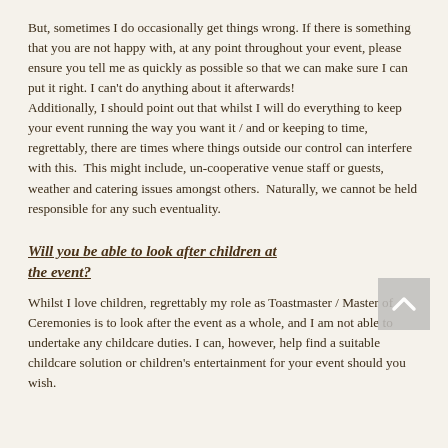But, sometimes I do occasionally get things wrong. If there is something that you are not happy with, at any point throughout your event, please ensure you tell me as quickly as possible so that we can make sure I can put it right. I can't do anything about it afterwards! Additionally, I should point out that whilst I will do everything to keep your event running the way you want it / and or keeping to time, regrettably, there are times where things outside our control can interfere with this.  This might include, un-cooperative venue staff or guests, weather and catering issues amongst others.  Naturally, we cannot be held responsible for any such eventuality.
Will you be able to look after children at the event?
Whilst I love children, regrettably my role as Toastmaster / Master of Ceremonies is to look after the event as a whole, and I am not able to undertake any childcare duties. I can, however, help find a suitable childcare solution or children's entertainment for your event should you wish.